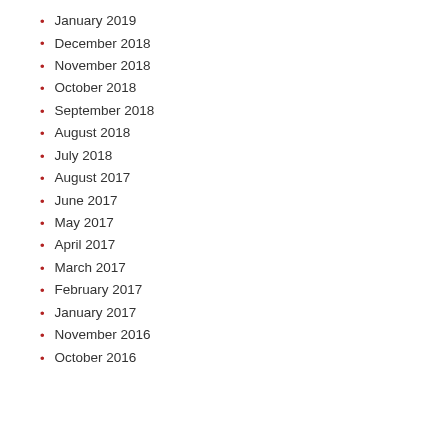January 2019
December 2018
November 2018
October 2018
September 2018
August 2018
July 2018
August 2017
June 2017
May 2017
April 2017
March 2017
February 2017
January 2017
November 2016
October 2016